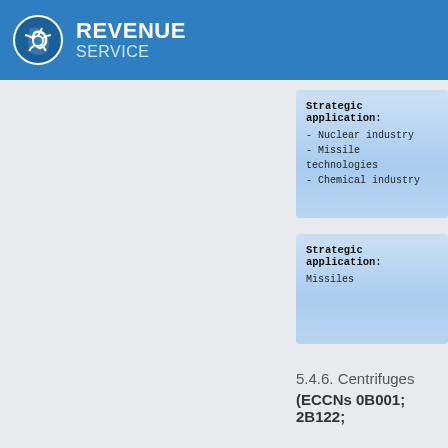REVENUE SERVICE
Strategic application:
- Nuclear industry
- Missile technologies
- Chemical industry
Strategic application:
Missiles
5.4.6. Centrifuges
(ECCNs 0B001; 2B122;